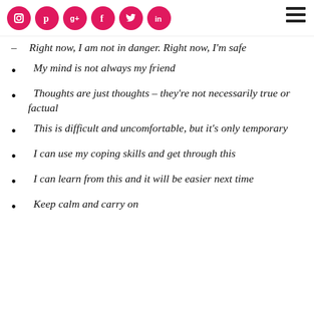Social media icons: Instagram, Pinterest, Google+, Facebook, Twitter, LinkedIn; hamburger menu
Right now, I am not in danger. Right now, I'm safe
My mind is not always my friend
Thoughts are just thoughts – they're not necessarily true or factual
This is difficult and uncomfortable, but it's only temporary
I can use my coping skills and get through this
I can learn from this and it will be easier next time
Keep calm and carry on